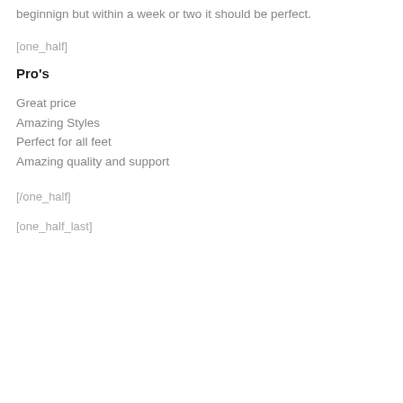beginnign but within a week or two it should be perfect.
[one_half]
Pro's
Great price
Amazing Styles
Perfect for all feet
Amazing quality and support
[/one_half]
[one_half_last]